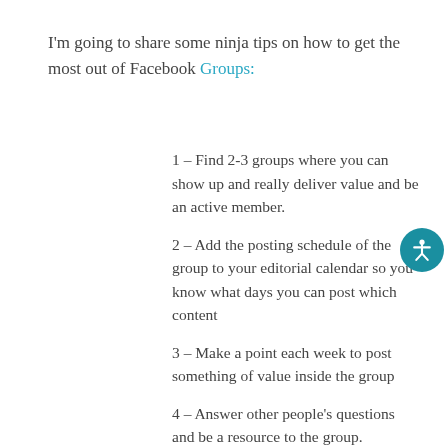I'm going to share some ninja tips on how to get the most out of Facebook Groups:
1 – Find 2-3 groups where you can show up and really deliver value and be an active member.
2 – Add the posting schedule of the group to your editorial calendar so you know what days you can post which content
3 – Make a point each week to post something of value inside the group
4 – Answer other people's questions and be a resource to the group. Showcase your expertise.